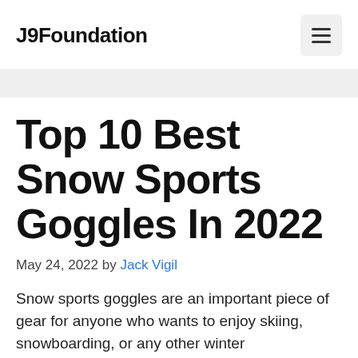J9Foundation
Top 10 Best Snow Sports Goggles In 2022
May 24, 2022 by Jack Vigil
Snow sports goggles are an important piece of gear for anyone who wants to enjoy skiing, snowboarding, or any other winter